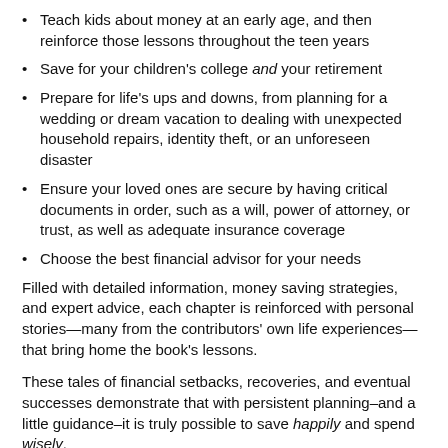Teach kids about money at an early age, and then reinforce those lessons throughout the teen years
Save for your children’s college and your retirement
Prepare for life’s ups and downs, from planning for a wedding or dream vacation to dealing with unexpected household repairs, identity theft, or an unforeseen disaster
Ensure your loved ones are secure by having critical documents in order, such as a will, power of attorney, or trust, as well as adequate insurance coverage
Choose the best financial advisor for your needs
Filled with detailed information, money saving strategies, and expert advice, each chapter is reinforced with personal stories—many from the contributors’ own life experiences—that bring home the book’s lessons.
These tales of financial setbacks, recoveries, and eventual successes demonstrate that with persistent planning–and a little guidance–it is truly possible to save happily and spend wisely.
Sharon Lechter, CPA, Founder/CEO of Pay Your Family First, is creator of the award-winning ThriveTime for Teens board game, coauthor of Think and Grow Rich-Three Feet from Gold, Rich Dad Poor Dad and annotator of Outwitting the Devil with the Napoleon